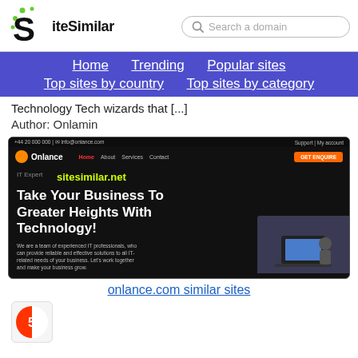SiteSimilar — Search a domain
Home | Trending | Popular sites | Top sites by country | Top sites by category
Technology Tech wizards that [...]
Author: Onlamin
[Figure (screenshot): Screenshot of onlance.com website showing dark-themed IT services homepage with 'Take Your Business To Greater Heights With Technology!' headline and sitesimilar.net watermark]
onlance.com similar sites
[Figure (logo): C5 favicon icon]